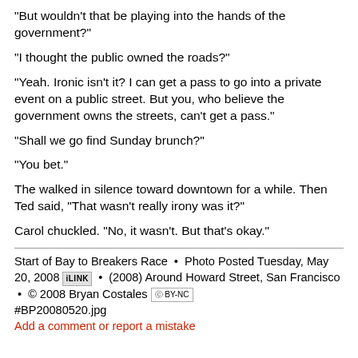"But wouldn't that be playing into the hands of the government?"
"I thought the public owned the roads?"
"Yeah. Ironic isn't it? I can get a pass to go into a private event on a public street. But you, who believe the government owns the streets, can't get a pass."
"Shall we go find Sunday brunch?"
"You bet."
The walked in silence toward downtown for a while. Then Ted said, "That wasn't really irony was it?"
Carol chuckled. "No, it wasn't. But that's okay."
Start of Bay to Breakers Race  •  Photo Posted Tuesday, May 20, 2008 iLINK  •  (2008) Around Howard Street, San Francisco  •  © 2008 Bryan Costales [cc] BY-NC
#BP20080520.jpg
Add a comment or report a mistake